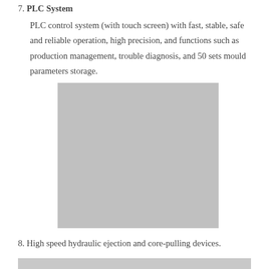7. PLC System
PLC control system (with touch screen) with fast, stable, safe and reliable operation, high precision, and functions such as production management, trouble diagnosis, and 50 sets mould parameters storage.
[Figure (photo): Photo of the PLC touch screen or machinery component, shown as a grey placeholder image.]
8. High speed hydraulic ejection and core-pulling devices.